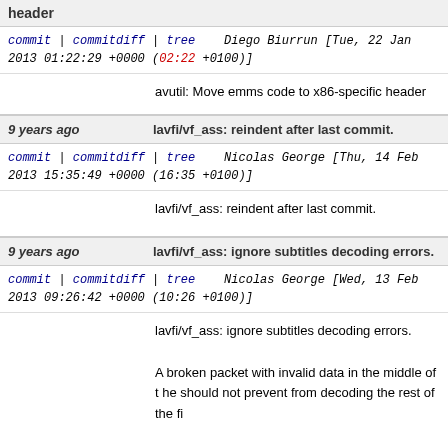header
commit | commitdiff | tree   Diego Biurrun [Tue, 22 Jan 2013 01:22:29 +0000 (02:22 +0100)]
avutil: Move emms code to x86-specific header
9 years ago   lavfi/vf_ass: reindent after last commit.
commit | commitdiff | tree   Nicolas George [Thu, 14 Feb 2013 15:35:49 +0000 (16:35 +0100)]
lavfi/vf_ass: reindent after last commit.
9 years ago   lavfi/vf_ass: ignore subtitles decoding errors.
commit | commitdiff | tree   Nicolas George [Wed, 13 Feb 2013 09:26:42 +0000 (10:26 +0100)]
lavfi/vf_ass: ignore subtitles decoding errors.

A broken packet with invalid data in the middle of the file should not prevent from decoding the rest of the fi...

Work around trac ticket #2264.